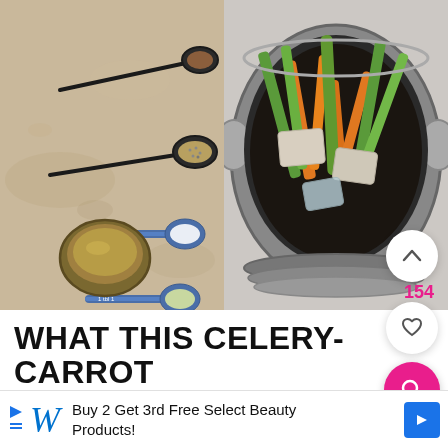[Figure (photo): Two food photos side by side: left shows measuring spoons with spices, sugar, ginger and a bowl of liquid on a marble surface; right shows an overhead view of a pot containing vegetables including carrots and celery stalks with tofu or fish pieces]
WHAT THIS CELERY-CARROT SALAD GOES WITH
[Figure (screenshot): Advertisement bar: Walgreens ad reading 'Buy 2 Get 3rd Free Select Beauty Products!' with blue W logo, play/close icons, and a blue navigation arrow button]